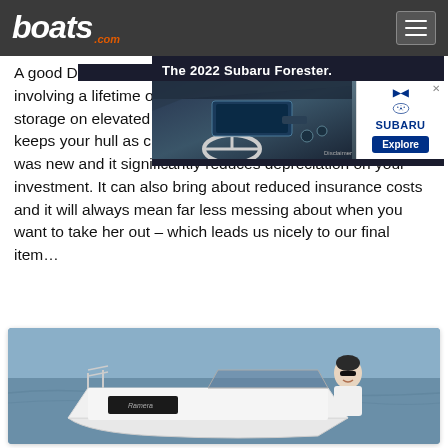boats.com
[Figure (screenshot): Advertisement for The 2022 Subaru Forester showing car interior dashboard with Subaru logo and Explore button]
A good D[ry storage marina is the perfect support] for your boat, involving a lifetime of jet washes, forklift launches and secure storage on elevated racks at the hands of professionals. It keeps your hull as clean, fast and efficient as it was when it was new and it significantly reduces depreciation on your investment. It can also bring about reduced insurance costs and it will always mean far less messing about when you want to take her out – which leads us nicely to our final item…
[Figure (photo): Man with sunglasses smiling while sitting in a white speedboat on the water]